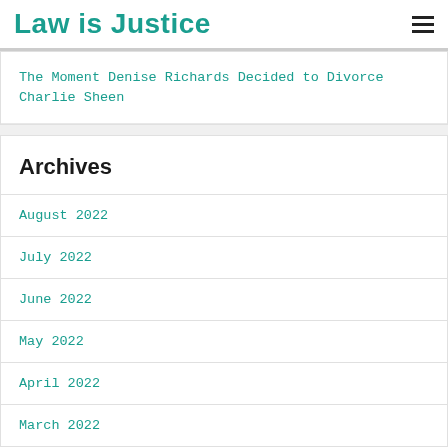Law is Justice
The Moment Denise Richards Decided to Divorce Charlie Sheen
Archives
August 2022
July 2022
June 2022
May 2022
April 2022
March 2022